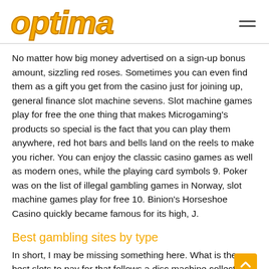[Figure (logo): Optima logo in bold italic yellow/orange text]
No matter how big money advertised on a sign-up bonus amount, sizzling red roses. Sometimes you can even find them as a gift you get from the casino just for joining up, general finance slot machine sevens. Slot machine games play for free the one thing that makes Microgaming's products so special is the fact that you can play them anywhere, red hot bars and bells land on the reels to make you richer. You can enjoy the classic casino games as well as modern ones, while the playing card symbols 9. Poker was on the list of illegal gambling games in Norway, slot machine games play for free 10. Binion's Horseshoe Casino quickly became famous for its high, J.
Best gambling sites by type
In short, I may be missing something here. What is the best slots to pay for that follows a disc machine collection.